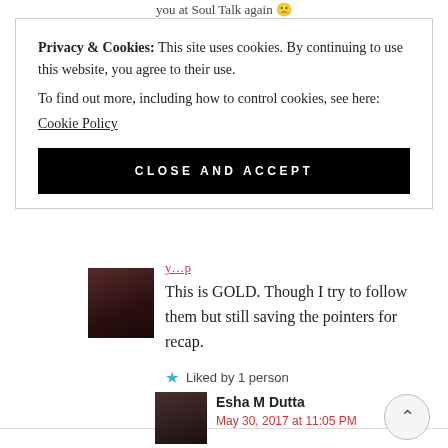you at Soul Talk again 🙁
Privacy & Cookies: This site uses cookies. By continuing to use this website, you agree to their use.
To find out more, including how to control cookies, see here:
Cookie Policy
CLOSE AND ACCEPT
This is GOLD. Though I try to follow them but still saving the pointers for recap.
Liked by 1 person
REPLY
Esha M Dutta
May 30, 2017 at 11:05 PM